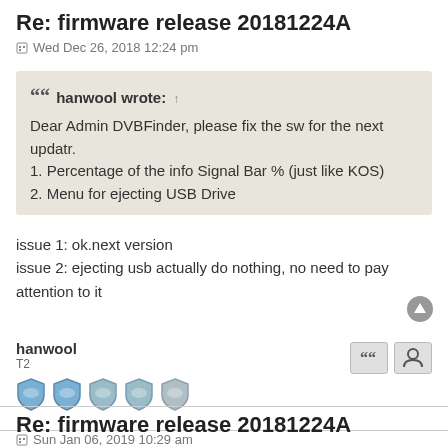Re: firmware release 20181224A
Wed Dec 26, 2018 12:24 pm
hanwool wrote: ↑
Dear Admin DVBFinder, please fix the sw for the next updatr.
1. Percentage of the info Signal Bar % (just like KOS)
2. Menu for ejecting USB Drive
issue 1: ok.next version
issue 2: ejecting usb actually do nothing, no need to pay attention to it
hanwool
T2
Re: firmware release 20181224A
Sun Jan 06, 2019 10:29 am
gxu wrote: ↑